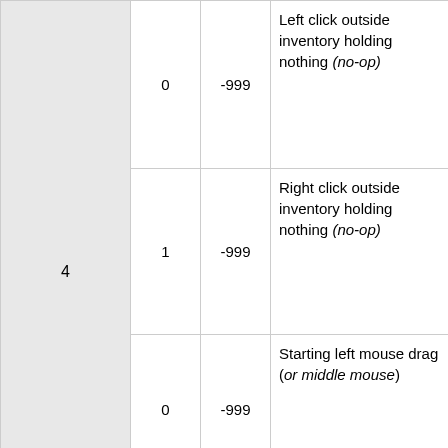| 4 | 0 | -999 | Left click outside inventory holding nothing (no-op) |
|  | 1 | -999 | Right click outside inventory holding nothing (no-op) |
|  | 0 | -999 | Starting left mouse drag (or middle mouse) |
|  | 4 | -999 | Starting right |